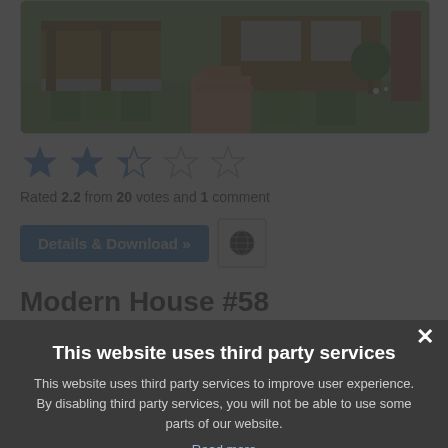[Figure (screenshot): Minecraft-style house exterior screenshot showing a wooden and stone structure with gardens and pathways]
[Figure (other): Star rating display showing 2.2 out of 5 stars (2 full blue stars, 1 partial, 2 empty)]
Rated 2.2 from 20 votes and 1 comment
Details & Download »
Modern House #58
This website uses third party services
This website uses third party services to improve user experience. By disabling third party services, you will not be able to use some parts of our website.
Read more
I AGREE
I DISAGREE